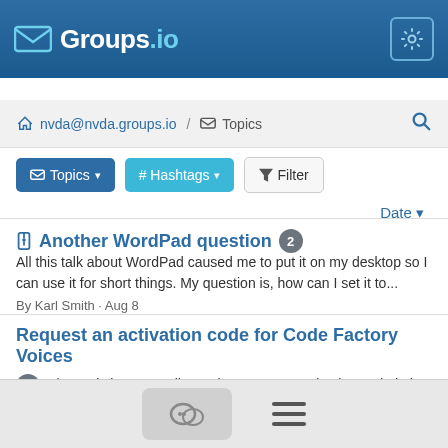Groups.io
nvda@nvda.groups.io / Topics
Topics  # Hashtags  Filter
Date
Another WordPad question 2
All this talk about WordPad caused me to put it on my desktop so I can use it for short things. My question is, how can I set it to...
By Karl Smith · Aug 8
Request an activation code for Code Factory Voices 2
I saw the reply in my email. But there was no activation code in it.
By Danial Sedaghat Nia · Aug 8